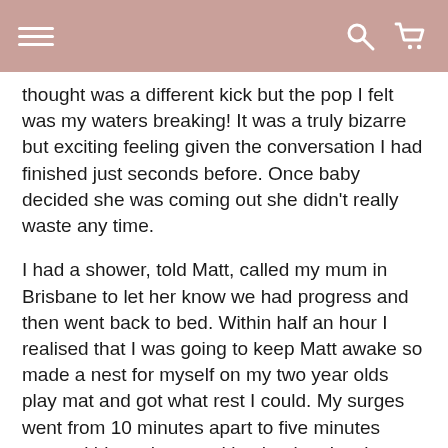≡ 🔍 🛒
thought was a different kick but the pop I felt was my waters breaking! It was a truly bizarre but exciting feeling given the conversation I had finished just seconds before. Once baby decided she was coming out she didn't really waste any time.
I had a shower, told Matt, called my mum in Brisbane to let her know we had progress and then went back to bed. Within half an hour I realised that I was going to keep Matt awake so made a nest for myself on my two year olds play mat and got what rest I could. My surges went from 10 minutes apart to five minutes apart within an hour and by the time I woke up Matt to call the hospital and our neighbour To look after our son I was quite uncomfortable. I don't remember my neighbour arriving as I had put myself in my hypnobirthing zone but I do remember telling Matt that I couldn't get to the car even though it was at the